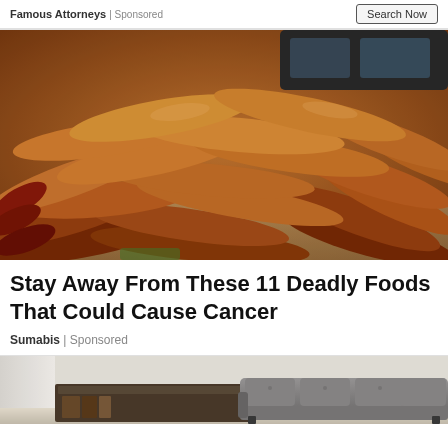Famous Attorneys | Sponsored   Search Now
[Figure (photo): A large pile of smoked/roasted sausages stacked on a table at what appears to be an outdoor market, with some equipment visible in the background.]
Stay Away From These 11 Deadly Foods That Could Cause Cancer
Sumabis | Sponsored
[Figure (photo): Partial view of a living room interior with a gray tufted sofa and a dark TV console/entertainment unit.]